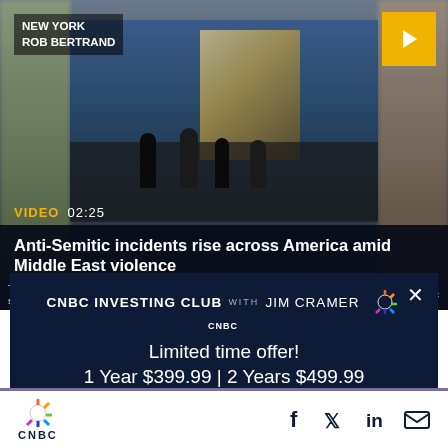[Figure (screenshot): CNBC video thumbnail showing a street scene in New York. Location tag reads 'NEW YORK / ROB BERTRAND'. Yellow play button in top right. Video label shows 'VIDEO 02:25'. Headline overlay: 'Anti-Semitic incidents rise across America amid Middle East violence'. Lower ticker bar shows same headline in all-caps with CNBC peacock logo.]
Anti-Semitic incidents rise across America amid Middle East violence
CNBC INVESTING CLUB WITH JIM CRAMER
Limited time offer!
1 Year $399.99 | 2 Years $499.99
BECOME A MEMBER
CNBC  [social icons: Facebook, Twitter, LinkedIn, Email]